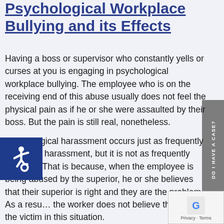Psychological Workplace Bullying and its Effects
Having a boss or supervisor who constantly yells or curses at you is engaging in psychological workplace bullying. The employee who is on the receiving end of this abuse usually does not feel the physical pain as if he or she were assaulted by their boss. But the pain is still real, nonetheless.
Psychological harassment occurs just as frequently as sexual harassment, but it is not as frequently reported. That is because, when the employee is being abused by the superior, he or she believes that their superior is right and they are the problem. As a result, the worker does not believe they are the victim in this situation.